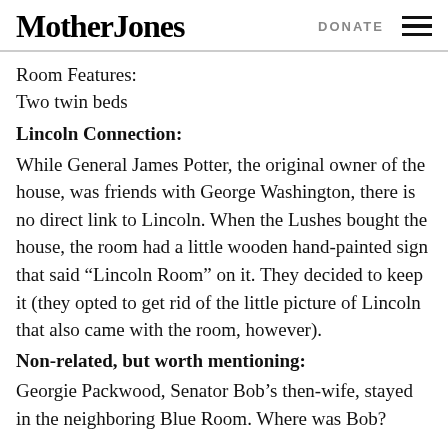Mother Jones | DONATE
Room Features:
Two twin beds
Lincoln Connection:
While General James Potter, the original owner of the house, was friends with George Washington, there is no direct link to Lincoln. When the Lushes bought the house, the room had a little wooden hand-painted sign that said “Lincoln Room” on it. They decided to keep it (they opted to get rid of the little picture of Lincoln that also came with the room, however).
Non-related, but worth mentioning:
Georgie Packwood, Senator Bob’s then-wife, stayed in the neighboring Blue Room. Where was Bob?